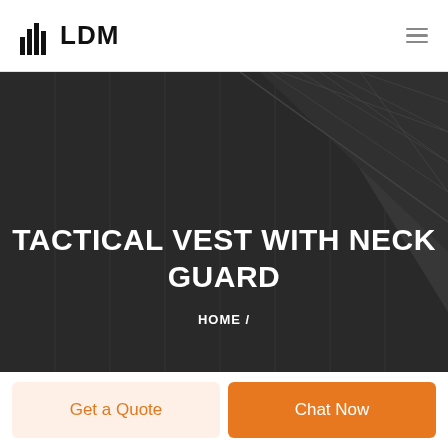LDM
TACTICAL VEST WITH NECK GUARD
HOME /
Get a Quote
Chat Now